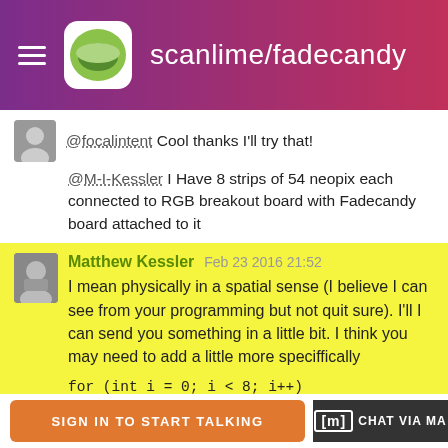scanlime/fadecandy
@focalintent Cool thanks I'll try that!
@M-I-Kessler I Have 8 strips of 54 neopix each connected to RGB breakout board with Fadecandy board attached to it
Matthew Kessler  Feb 23 2016 21:52
I mean physically in a spatial sense (I believe I can see from your programming but not quit sure). I'll I can send you something in a little bit. I think you may need to add a little more speciffically

for (int i = 0; i < 8; i++)
opc.ledStrip(0, 54, width/2, height/4 + 15, width / 54.0, 0, false);
opc.ledStrip(55, 54, width/2, height/4 + 25, width /
SIGN IN TO START TALKING    [m] CHAT VIA MA